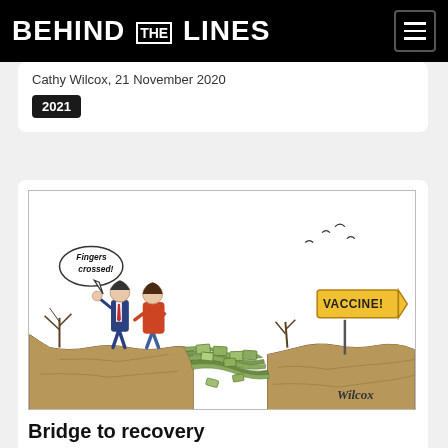BEHIND THE LINES
Cathy Wilcox, 21 November 2020
2021
[Figure (illustration): Cartoon by Cathy Wilcox showing two figures standing on the edge of a cliff. A bridge made of banknotes/money spans a chasm to the other side, where a road sign reads 'VACCINE!'. One figure has a speech bubble saying 'Fingers crossed!' Birds fly in the background sky.]
Bridge to recovery
Cathy Wilcox, 7 October 2020
2021